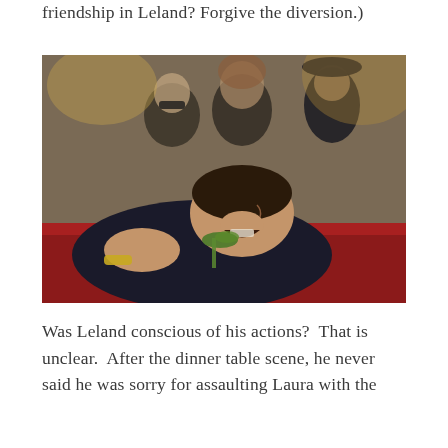friendship in Leland? Forgive the diversion.)
[Figure (photo): A man in a dark suit is collapsed face-down over a red surface (a coffin lid), crying with mouth open, clutching green foliage. In the background are several blurred figures also dressed in dark clothing, suggesting a funeral scene.]
Was Leland conscious of his actions?  That is unclear.  After the dinner table scene, he never said he was sorry for assaulting Laura with the